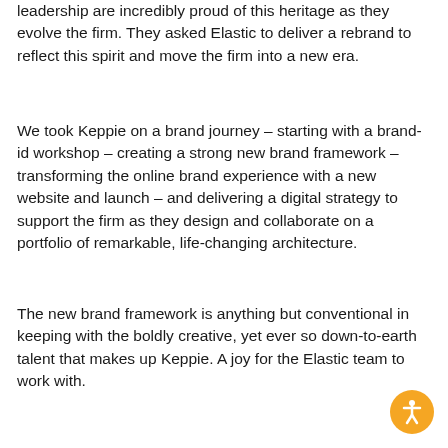leadership are incredibly proud of this heritage as they evolve the firm. They asked Elastic to deliver a rebrand to reflect this spirit and move the firm into a new era.
We took Keppie on a brand journey – starting with a brand-id workshop – creating a strong new brand framework – transforming the online brand experience with a new website and launch – and delivering a digital strategy to support the firm as they design and collaborate on a portfolio of remarkable, life-changing architecture.
The new brand framework is anything but conventional in keeping with the boldly creative, yet ever so down-to-earth talent that makes up Keppie. A joy for the Elastic team to work with.